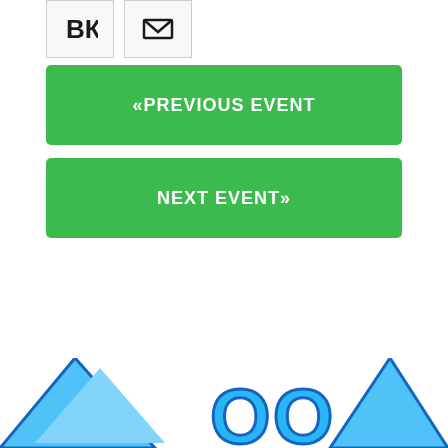[Figure (logo): VK social network icon - black VK letters]
[Figure (logo): Email/envelope icon - black envelope symbol]
«PREVIOUS EVENT
NEXT EVENT»
[Figure (logo): Partial colorful logo at bottom of page - blue triangles and cyan letters partially visible]